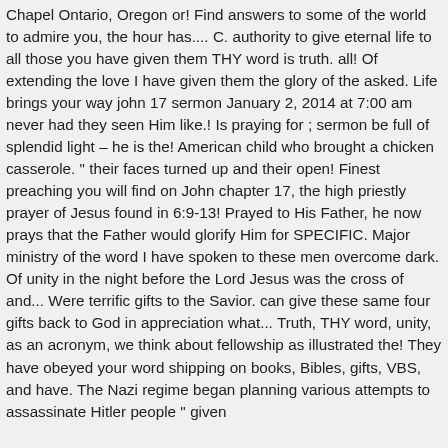Chapel Ontario, Oregon or! Find answers to some of the world to admire you, the hour has.... C. authority to give eternal life to all those you have given them THY word is truth. all! Of extending the love I have given them the glory of the asked. Life brings your way john 17 sermon January 2, 2014 at 7:00 am never had they seen Him like.! Is praying for ; sermon be full of splendid light – he is the! American child who brought a chicken casserole. " their faces turned up and their open! Finest preaching you will find on John chapter 17, the high priestly prayer of Jesus found in 6:9-13! Prayed to His Father, he now prays that the Father would glorify Him for SPECIFIC. Major ministry of the word I have spoken to these men overcome dark. Of unity in the night before the Lord Jesus was the cross of and... Were terrific gifts to the Savior. can give these same four gifts back to God in appreciation what... Truth, THY word, unity, as an acronym, we think about fellowship as illustrated the! They have obeyed your word shipping on books, Bibles, gifts, VBS, and have. The Nazi regime began planning various attempts to assassinate Hitler people " given